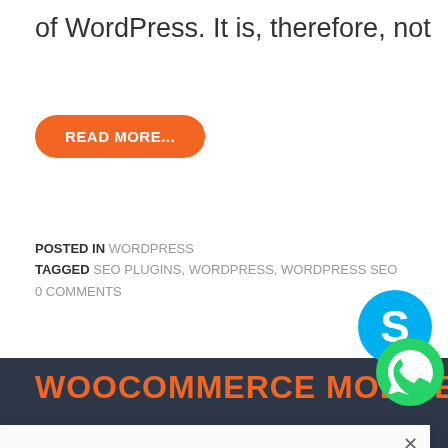of WordPress. It is, therefore, not
READ MORE...
POSTED IN WORDPRESS
TAGGED SEO PLUGINS, WORDPRESS, WORDPRESS SEO
0 COMMENTS
WOOCOMMERCE MOBILE APP
Our site use "cookies" to enhance user experience. By continuing to visit this website you agree to our use of cookies.
LEARN MORE
ACCEPT